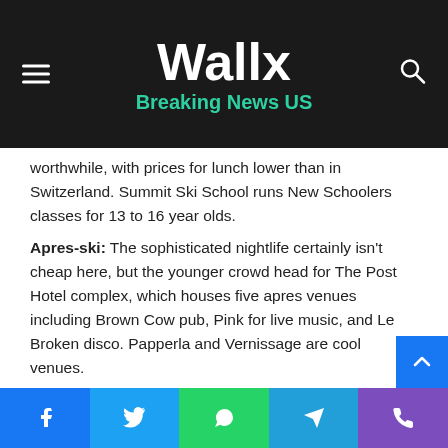Wallx Breaking News US
worthwhile, with prices for lunch lower than in Switzerland. Summit Ski School runs New Schoolers classes for 13 to 16 year olds.
Apres-ski: The sophisticated nightlife certainly isn't cheap here, but the younger crowd head for The Post Hotel complex, which houses five apres venues including Brown Cow pub, Pink for live music, and Le Broken disco. Papperla and Vernissage are cool venues.
Other activities: ice-skating, ice-hockey, trampoline bungee jump, climbing wall, dog-sledding, ice-climbing, paragliding, swimming-pools, and a cinema.
Facebook Twitter WhatsApp Telegram Phone